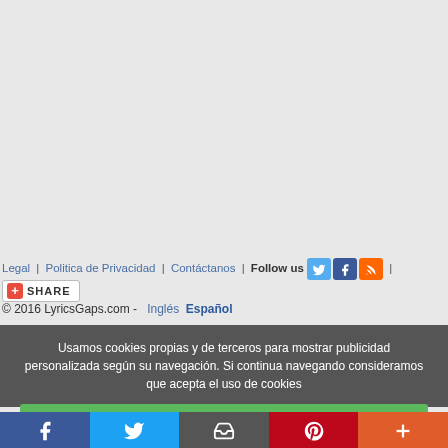Legal | Politica de Privacidad | Contáctanos | Follow us [Twitter] [Facebook] [RSS] |
[+] SHARE
© 2016 LyricsGaps.com - Inglés Español
Usamos cookies propias y de terceros para mostrar publicidad personalizada según su navegación. Si continua navegando consideramos que acepta el uso de cookies
Aceptar